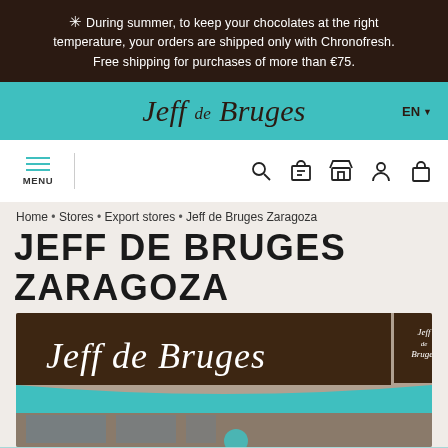* During summer, to keep your chocolates at the right temperature, your orders are shipped only with Chronofresh. Free shipping for purchases of more than €75.
[Figure (logo): Jeff de Bruges logo on teal header with EN language selector]
[Figure (screenshot): Navigation bar with MENU, search, store locator, store, account, and bag icons]
Home • Stores • Export stores • Jeff de Bruges Zaragoza
JEFF DE BRUGES ZARAGOZA
[Figure (illustration): Illustration of Jeff de Bruges chocolate shop storefront with teal awning and the tagline 'très très chocolat']
Find a store